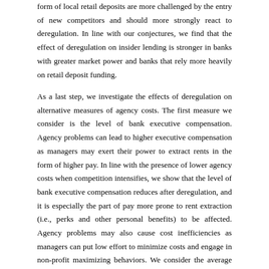form of local retail deposits are more challenged by the entry of new competitors and should more strongly react to deregulation. In line with our conjectures, we find that the effect of deregulation on insider lending is stronger in banks with greater market power and banks that rely more heavily on retail deposit funding.
As a last step, we investigate the effects of deregulation on alternative measures of agency costs. The first measure we consider is the level of bank executive compensation. Agency problems can lead to higher executive compensation as managers may exert their power to extract rents in the form of higher pay. In line with the presence of lower agency costs when competition intensifies, we show that the level of bank executive compensation reduces after deregulation, and it is especially the part of pay more prone to rent extraction (i.e., perks and other personal benefits) to be affected. Agency problems may also cause cost inefficiencies as managers can put low effort to minimize costs and engage in non-profit maximizing behaviors. We consider the average cost of operating a branch office as a proxy for a bank's operational inefficiencies. We document that a drop in such cost materializes right after deregulation, which suggests lower cost inefficiencies when competition intensifies. Overall, these results confirm that greater competition enforces discipline on bank insiders.